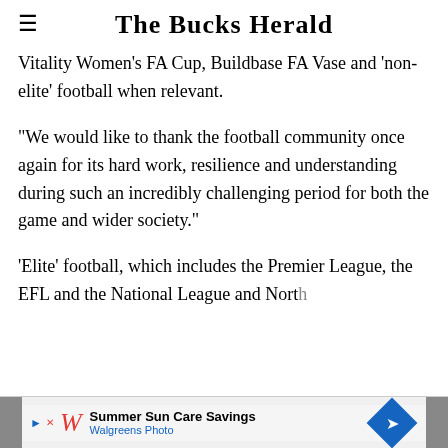The Bucks Herald
Vitality Women's FA Cup, Buildbase FA Vase and 'non-elite' football when relevant.
“We would like to thank the football community once again for its hard work, resilience and understanding during such an incredibly challenging period for both the game and wider society.”
‘Elite’ football, which includes the Premier League, the EFL and the National League and North
[Figure (other): Walgreens Photo advertisement banner: Summer Sun Care Savings]